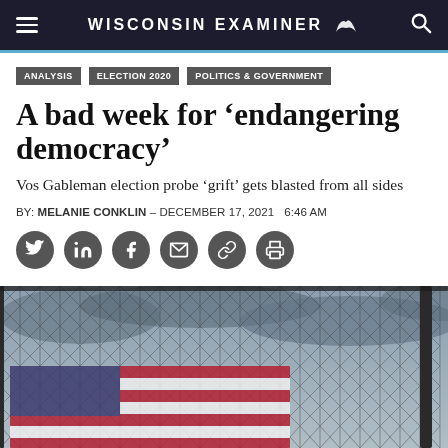WISCONSIN EXAMINER
ANALYSIS | ELECTION 2020 | POLITICS & GOVERNMENT
A bad week for ‘endangering democracy’
Vos Gableman election probe ‘grift’ gets blasted from all sides
BY: MELANIE CONKLIN – DECEMBER 17, 2021  6:46 AM
[Figure (photo): An American flag draped through a chain-link fence, appearing worn and tattered, with a dark overcast sky in the background.]